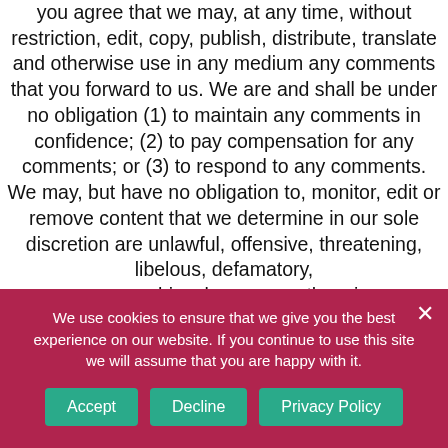you agree that we may, at any time, without restriction, edit, copy, publish, distribute, translate and otherwise use in any medium any comments that you forward to us. We are and shall be under no obligation (1) to maintain any comments in confidence; (2) to pay compensation for any comments; or (3) to respond to any comments. We may, but have no obligation to, monitor, edit or remove content that we determine in our sole discretion are unlawful, offensive, threatening, libelous, defamatory, pornographic, obscene or otherwise
We use cookies to ensure that we give you the best experience on our website. If you continue to use this site we will assume that you are happy with it.